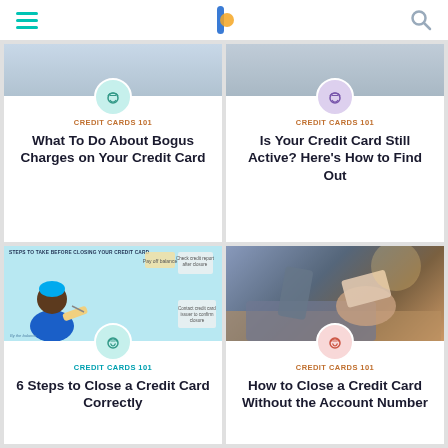The Balance — navigation header with hamburger menu, logo, and search icon
[Figure (screenshot): Partial article card image — credit card related illustration]
CREDIT CARDS 101
What To Do About Bogus Charges on Your Credit Card
[Figure (screenshot): Partial article card image — credit card related illustration]
CREDIT CARDS 101
Is Your Credit Card Still Active? Here's How to Find Out
[Figure (infographic): Steps to Take Before Closing Your Credit Card — illustrated infographic with blue-haired person cutting a credit card]
CREDIT CARDS 101
6 Steps to Close a Credit Card Correctly
[Figure (photo): Photo of person holding credit card while using laptop]
CREDIT CARDS 101
How to Close a Credit Card Without the Account Number